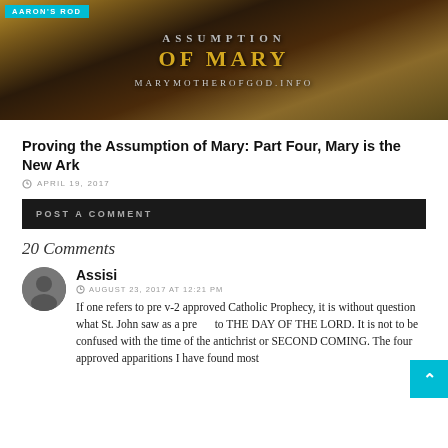[Figure (illustration): Book or artwork cover image with text 'Assumption of Mary' styled in decorative gold and gray lettering on a dark brown/golden background, with 'Aaron's Rod' label in cyan top left]
Proving the Assumption of Mary: Part Four, Mary is the New Ark
APRIL 19, 2017
POST A COMMENT
20 Comments
Assisi
AUGUST 23, 2017 AT 12:21 PM
If one refers to pre v-2 approved Catholic Prophecy, it is without question what St. John saw as a precursor to THE DAY OF THE LORD. It is not to be confused with the time of the antichrist or SECOND COMING. The four approved apparitions I have found most